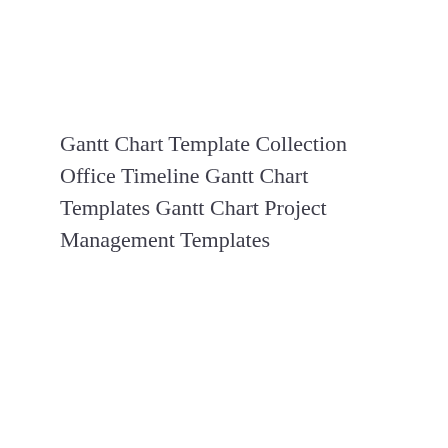Gantt Chart Template Collection Office Timeline Gantt Chart Templates Gantt Chart Project Management Templates